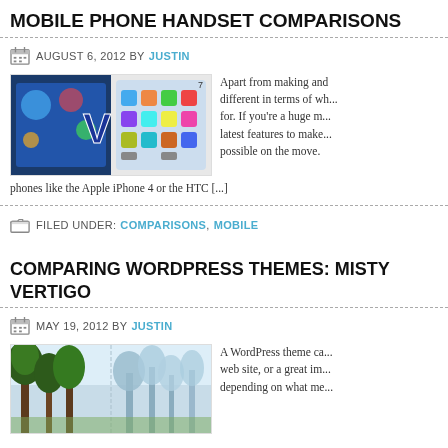MOBILE PHONE HANDSET COMPARISONS
AUGUST 6, 2012 BY JUSTIN
[Figure (photo): Two smartphones shown side by side with VS text overlay]
Apart from making and receiving calls, modern mobile phones are all different in terms of what they offer and what they are designed for. If you're a huge mobile phone fan, you'll want to get the latest features to make sure you can do as much as is possible on the move. phones like the Apple iPhone 4 or the HTC [...]
FILED UNDER: COMPARISONS, MOBILE
COMPARING WORDPRESS THEMES: MISTY VERTIGO
MAY 19, 2012 BY JUSTIN
[Figure (photo): Forest trees comparison image]
A WordPress theme can make or break a web site, or a great improvement depending on what me...